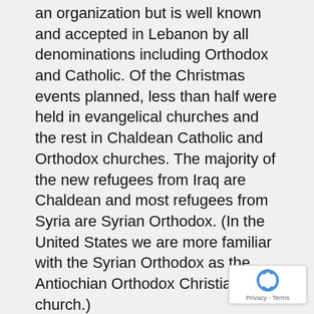an organization but is well known and accepted in Lebanon by all denominations including Orthodox and Catholic. Of the Christmas events planned, less than half were held in evangelical churches and the rest in Chaldean Catholic and Orthodox churches. The majority of the new refugees from Iraq are Chaldean and most refugees from Syria are Syrian Orthodox. (In the United States we are more familiar with the Syrian Orthodox as the Antiochian Orthodox Christian church.)
The last event in Lebanon will actually be held the same day this newsletter is being mailed, January 2nd. It is for 200 children newly arrived from Mosul, Iraq. The reason for moving the date to January had to do with a food allowance from  CARITAS, the Catholic relief agency, for these families expiring in December. Our food allowance of $40 for each family was able to extend the food for these families for one month in the hope that other agencies could assist them in February. Iraqi refugees are not legally allowed to work in Lebanon and the children are not allowed to